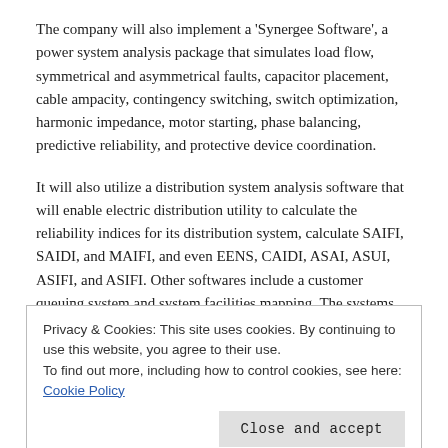The company will also implement a 'Synergee Software', a power system analysis package that simulates load flow, symmetrical and asymmetrical faults, capacitor placement, cable ampacity, contingency switching, switch optimization, harmonic impedance, motor starting, phase balancing, predictive reliability, and protective device coordination.
It will also utilize a distribution system analysis software that will enable electric distribution utility to calculate the reliability indices for its distribution system, calculate SAIFI, SAIDI, and MAIFI, and even EENS, CAIDI, ASAI, ASUI, ASIFI, and ASIFI. Other softwares include a customer queuing system and system facilities mapping. The systems facilities mapping will provide an easy viewing of the electric
Privacy & Cookies: This site uses cookies. By continuing to use this website, you agree to their use.
To find out more, including how to control cookies, see here: Cookie Policy
Close and accept
operations; pickup trucks for customer care and network operations.